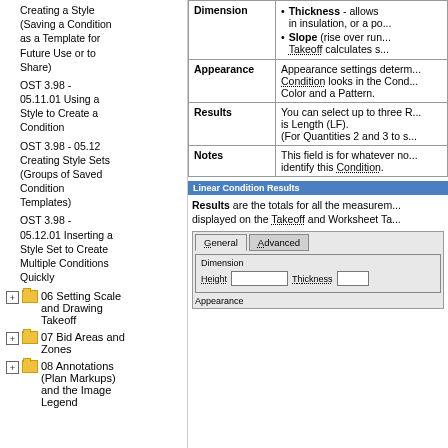Creating a Style (Saving a Condition as a Template for Future Use or to Share)
OST 3.98 - 05.11.01 Using a Style to Create a Condition
OST 3.98 - 05.12 Creating Style Sets (Groups of Saved Condition Templates)
OST 3.98 - 05.12.01 Inserting a Style Set to Create Multiple Conditions Quickly
06 Setting Scale and Drawing Takeoff
07 Bid Areas and Zones
08 Annotations (Plan Markups) and the Image Legend
| Field | Description |
| --- | --- |
| Dimension | Thickness - allows in insulation, or a po...
Slope (rise over run... Takeoff calculates s... |
| Appearance | Appearance settings determ... Condition looks in the Cond... Color and a Pattern. |
| Results | You can select up to three R... is Length (LF).
(For Quantities 2 and 3 to s... |
| Notes | This field is for whatever no... identify this Condition. |
Linear Condition Results
Results are the totals for all the measurem... displayed on the Takeoff and Worksheet Ta...
[Figure (screenshot): Dialog box showing General and Advanced tabs, with Dimension group containing Height and Thickness input fields, and Appearance group label at bottom.]